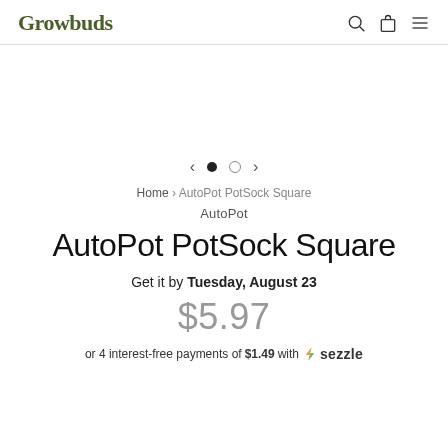Growbuds
[Figure (screenshot): Empty product image carousel area]
< ● ○ >
Home › AutoPot PotSock Square
AutoPot
AutoPot PotSock Square
Get it by Tuesday, August 23
$5.97
or 4 interest-free payments of $1.49 with ✦ sezzle